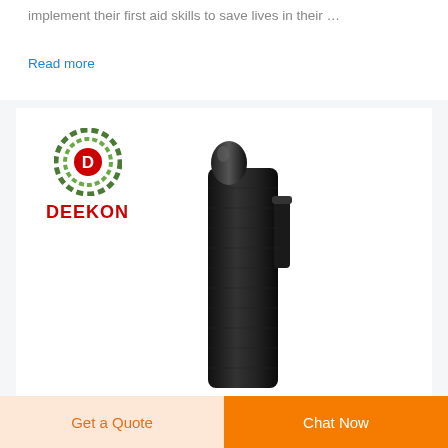implement their first aid skills to save lives in their ...
Read more
[Figure (photo): Deekon brand logo (camouflage target circle with red D, red DEEKON text below) alongside a black nylon baton/flashlight holder/holster with a black baton inserted, shown on white background]
Get a Quote
Chat Now